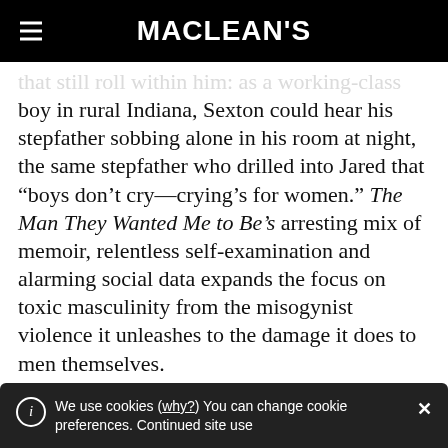MACLEAN'S
that still roll within him: as a working-class boy in rural Indiana, Sexton could hear his stepfather sobbing alone in his room at night, the same stepfather who drilled into Jared that “boys don’t cry—crying’s for women.” The Man They Wanted Me to Be’s arresting mix of memoir, relentless self-examination and alarming social data expands the focus on toxic masculinity from the misogynist violence it unleashes to the damage it does to men themselves.
We use cookies (why?) You can change cookie preferences. Continued site use implies consent.